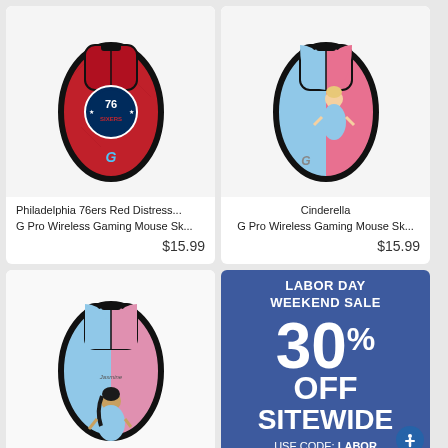[Figure (photo): Philadelphia 76ers Red Distress themed G Pro Wireless Gaming Mouse Skin - red mouse with 76ers logo]
Philadelphia 76ers Red Distress...
G Pro Wireless Gaming Mouse Sk...
$15.99
[Figure (photo): Cinderella themed G Pro Wireless Gaming Mouse Skin - blue and pink mouse with Cinderella character]
Cinderella
G Pro Wireless Gaming Mouse Sk...
$15.99
[Figure (photo): Jasmine themed G Pro Wireless Gaming Mouse Skin - blue and pink mouse with Jasmine character]
[Figure (infographic): Labor Day Weekend Sale - 30% Off Sitewide - Use Code: LABOR promotional banner on blue background]